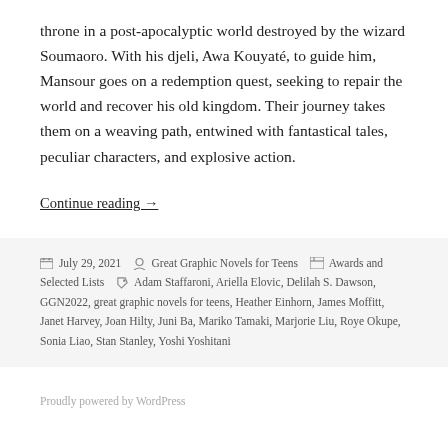throne in a post-apocalyptic world destroyed by the wizard Soumaoro. With his djeli, Awa Kouyaté, to guide him, Mansour goes on a redemption quest, seeking to repair the world and recover his old kingdom. Their journey takes them on a weaving path, entwined with fantastical tales, peculiar characters, and explosive action.
Continue reading →
July 29, 2021   Great Graphic Novels for Teens   Awards and Selected Lists   Adam Staffaroni, Ariella Elovic, Delilah S. Dawson, GGN2022, great graphic novels for teens, Heather Einhorn, James Moffitt, Janet Harvey, Joan Hilty, Juni Ba, Mariko Tamaki, Marjorie Liu, Roye Okupe, Sonia Liao, Stan Stanley, Yoshi Yoshitani
Proudly powered by WordPress